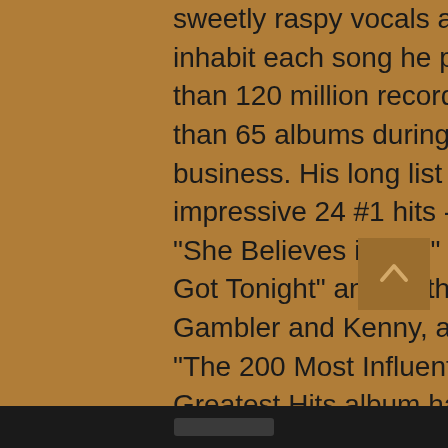sweetly raspy vocals and an extraordinary ability to vividly inhabit each song he performs, Rogers has sold more than 120 million records worldwide and recorded more than 65 albums during his storied 52 years in show business. His long list of timeless classics includes an impressive 24 #1 hits - "The Gambler," "Lady," "Lucille," "She Believes in Me," "Islands in the Stream," and "We've Got Tonight" among them. Two of Rogers' albums, The Gambler and Kenny, are featured in the About.com poll of "The 200 Most Influential Country Albums Ever", and his Greatest Hits album has sold over 24 million copies worldwide to date. He is the RIAA's 8th best selling male artist of all time with 1 Diamond album, 19 Platinum albums and